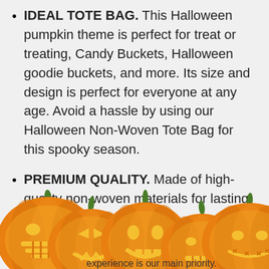IDEAL TOTE BAG. This Halloween pumpkin theme is perfect for treat or treating, Candy Buckets, Halloween goodie buckets, and more. Its size and design is perfect for everyone at any age. Avoid a hassle by using our Halloween Non-Woven Tote Bag for this spooky season.
PREMIUM QUALITY. Made of high-quality non-woven materials for lasting usage experience is our main priority.
[Figure (illustration): A row of five jack-o-lantern pumpkins with glowing carved faces, orange bodies, and green stems, displayed at the bottom of the page.]